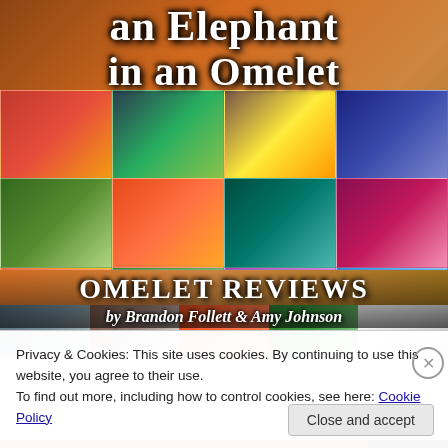[Figure (photo): Book cover collage for 'an Elephant in an Omelet' featuring multiple travel food photos from Southeast Asia, with text 'OMELET REVIEWS by Brandon Follett & Amy Johnson']
Privacy & Cookies: This site uses cookies. By continuing to use this website, you agree to their use.
To find out more, including how to control cookies, see here: Cookie Policy
Close and accept